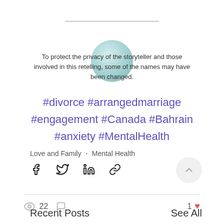To protect the privacy of the storyteller and those involved in this retelling, some of the names may have been changed.
#divorce #arrangedmarriage #engagement #Canada #Bahrain #anxiety #MentalHealth
Love and Family  ·  Mental Health
22  [views]  [comments]  1 [heart]
Recent Posts  See All